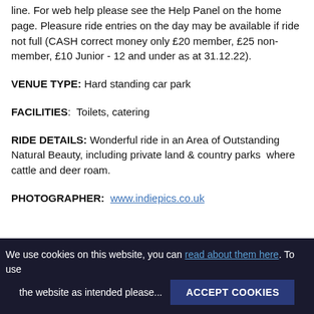line. For web help please see the Help Panel on the home page. Pleasure ride entries on the day may be available if ride not full (CASH correct money only £20 member, £25 non-member, £10 Junior - 12 and under as at 31.12.22).
VENUE TYPE: Hard standing car park
FACILITIES:  Toilets, catering
RIDE DETAILS: Wonderful ride in an Area of Outstanding Natural Beauty, including private land & country parks  where cattle and deer roam.
PHOTOGRAPHER:  www.indiepics.co.uk
We use cookies on this website, you can read about them here. To use the website as intended please... ACCEPT COOKIES